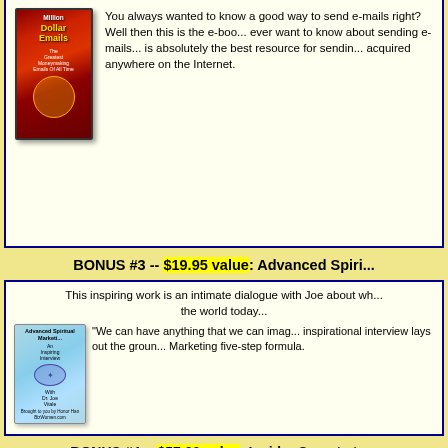[Figure (illustration): Book cover for 'Million Dollar Emails' showing a book with red/orange cover]
You always wanted to know a good way to send e-mails right? Well then this is the e-book. You ever want to know about sending e-mails, this is absolutely the best resource for sending acquired anywhere on the Internet.
BONUS #3 -- $19.95 value: Advanced Spiri...
This inspiring work is an intimate dialogue with Joe about wh... the world today...
[Figure (illustration): Book cover for 'Advanced Spiritual Marketing' showing a blue book with an inspiring interview format]
"We can have anything that we can imag... inspirational interview lays out the groun... Marketing five-step formula.
BONUS #4 -- $57.00 value: Insider Secrets to...
This resource shows you how to increase your traffic, genera... along with the automated tools to insur...
[Figure (illustration): Book cover for 'Insider Secrets' showing a blue book]
Complete 150+ page manual with hundr... marketing secrets. You will discover a p... traffic and sales no matter what type of b... proven strategies are so simple, sure...